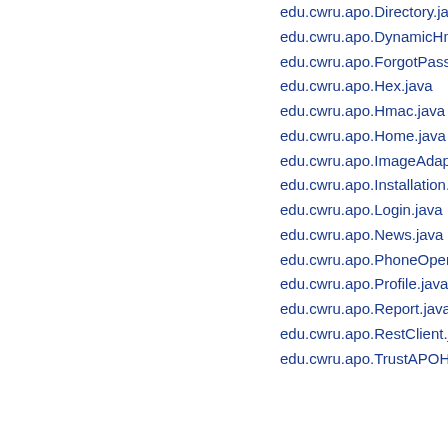edu.cwru.apo.Directory.java
edu.cwru.apo.DynamicHmac...
edu.cwru.apo.ForgotPasswo...
edu.cwru.apo.Hex.java
edu.cwru.apo.Hmac.java
edu.cwru.apo.Home.java
edu.cwru.apo.ImageAdapter....
edu.cwru.apo.Installation.jav...
edu.cwru.apo.Login.java
edu.cwru.apo.News.java
edu.cwru.apo.PhoneOpenHe...
edu.cwru.apo.Profile.java
edu.cwru.apo.Report.java
edu.cwru.apo.RestClient.java...
edu.cwru.apo.TrustAPOHttpC...